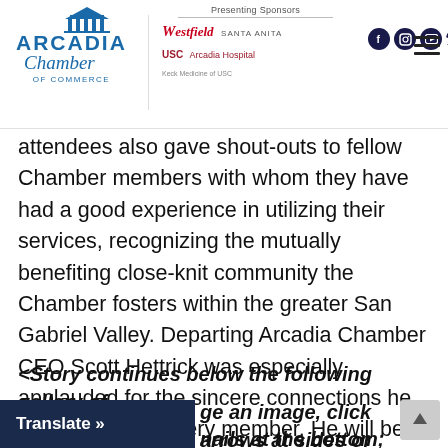Arcadia Chamber of Commerce | Presenting Sponsors: Westfield Santa Anita, USC Arcadia Hospital
attendees also gave shout-outs to fellow Chamber members with whom they have had a good experience in utilizing their services, recognizing the mutually benefiting close-knit community the Chamber fosters within the greater San Gabriel Valley. Departing Arcadia Chamber CEO Scott Hettrick was especially applauded for the sincere connections he has made with every member. He will be duly missed; he moves to Omaha with his wife Betty next week.
<Story continues below the following gallery of photos> To change an image, click arrows at sides or click thumbnails at the bottom; click "FS" at